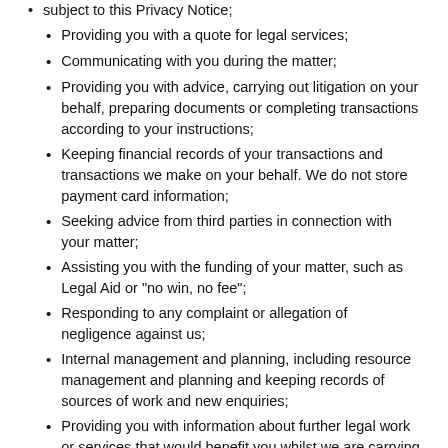subject to this Privacy Notice;
Providing you with a quote for legal services;
Communicating with you during the matter;
Providing you with advice, carrying out litigation on your behalf, preparing documents or completing transactions according to your instructions;
Keeping financial records of your transactions and transactions we make on your behalf. We do not store payment card information;
Seeking advice from third parties in connection with your matter;
Assisting you with the funding of your matter, such as Legal Aid or "no win, no fee";
Responding to any complaint or allegation of negligence against us;
Internal management and planning, including resource management and planning and keeping records of sources of work and new enquiries;
Providing you with information about further legal work or services that would benefit you whilst we are carrying out your work.
Disclosure of Data